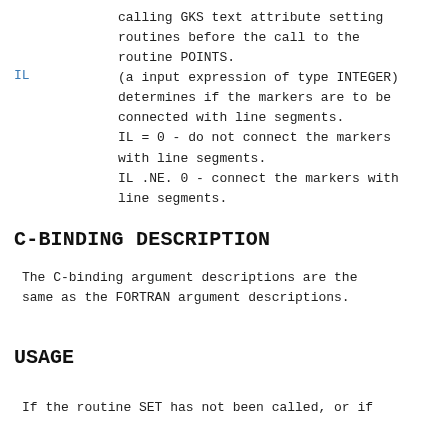calling GKS text attribute setting routines before the call to the routine POINTS.
IL
(a input expression of type INTEGER) determines if the markers are to be connected with line segments.
IL = 0 - do not connect the markers with line segments.
IL .NE. 0 - connect the markers with line segments.
C-BINDING DESCRIPTION
The C-binding argument descriptions are the same as the FORTRAN argument descriptions.
USAGE
If the routine SET has not been called, or if